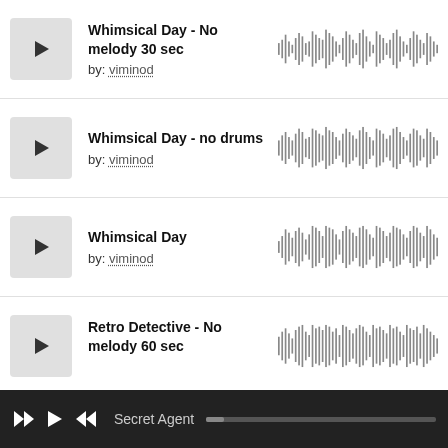Whimsical Day - No melody 30 sec by: viminod
[Figure (other): Audio waveform for Whimsical Day - No melody 30 sec]
Whimsical Day - no drums by: viminod
[Figure (other): Audio waveform for Whimsical Day - no drums]
Whimsical Day by: viminod
[Figure (other): Audio waveform for Whimsical Day]
Retro Detective - No melody 60 sec by: viminod
[Figure (other): Audio waveform for Retro Detective - No melody 60 sec]
Secret Agent